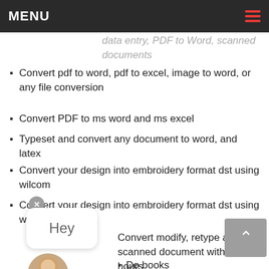MENU
unper.data entry, PDF to Word, scanned documents
Convert pdf to word, pdf to excel, image to word, or any file conversion
Convert PDF to ms word and ms excel
Typeset and convert any document to word, and latex
Convert your design into embroidery format dst using wilcom
Convert your design into embroidery format dst using wilcom
Convert modify, retype any pdf, scanned document within 24 hours
Do books conversion to any ebook or paperback format
Convert PDF to word or scanned PDF to word
Convert your scanned document to text using